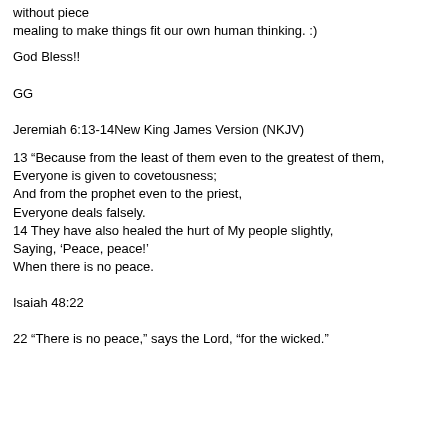without piece mealing to make things fit our own human thinking. :)
God Bless!!
GG
Jeremiah 6:13-14New King James Version (NKJV)
13 “Because from the least of them even to the greatest of them,
Everyone is given to covetousness;
And from the prophet even to the priest,
Everyone deals falsely.
14 They have also healed the hurt of My people slightly,
Saying, ‘Peace, peace!’
When there is no peace.
Isaiah 48:22
22 “There is no peace,” says the Lord, “for the wicked.”